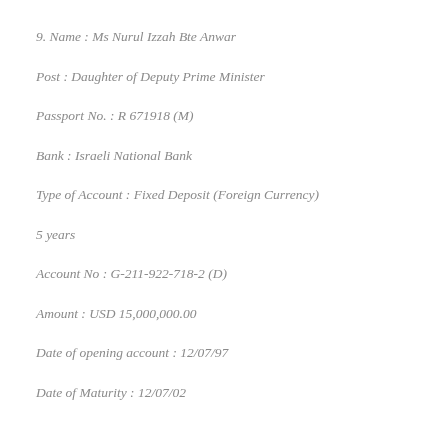9. Name : Ms Nurul Izzah Bte Anwar
Post : Daughter of Deputy Prime Minister
Passport No. : R 671918 (M)
Bank : Israeli National Bank
Type of Account : Fixed Deposit (Foreign Currency)
5 years
Account No : G-211-922-718-2 (D)
Amount : USD 15,000,000.00
Date of opening account : 12/07/97
Date of Maturity : 12/07/02